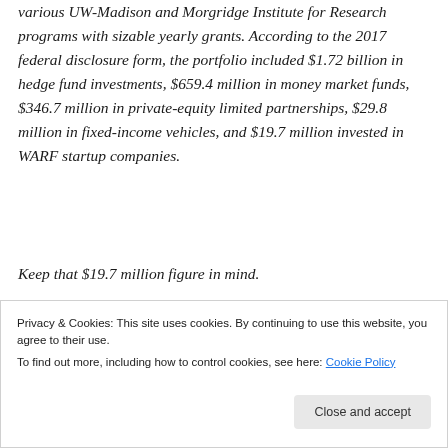various UW-Madison and Morgridge Institute for Research programs with sizable yearly grants. According to the 2017 federal disclosure form, the portfolio included $1.72 billion in hedge fund investments, $659.4 million in money market funds, $346.7 million in private-equity limited partnerships, $29.8 million in fixed-income vehicles, and $19.7 million invested in WARF startup companies.
Keep that $19.7 million figure in mind.
[Figure (illustration): Partial banner image with orange and pink gradient background and bold text 'in the back.']
Privacy & Cookies: This site uses cookies. By continuing to use this website, you agree to their use.
To find out more, including how to control cookies, see here: Cookie Policy